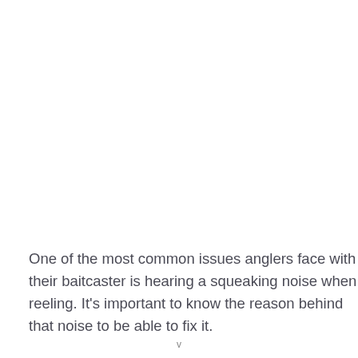One of the most common issues anglers face with their baitcaster is hearing a squeaking noise when reeling. It's important to know the reason behind that noise to be able to fix it.
v